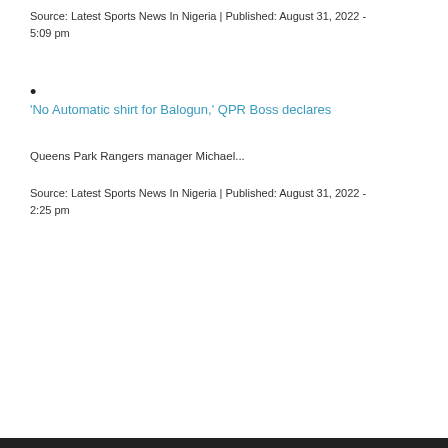Source: Latest Sports News In Nigeria | Published: August 31, 2022 - 5:09 pm
•
'No Automatic shirt for Balogun,' QPR Boss declares
Queens Park Rangers manager Michael...
Source: Latest Sports News In Nigeria | Published: August 31, 2022 - 2:25 pm
[Figure (other): AS FEATURED ON News Now banner with Nigerian Football News 24/7 text on dark background]